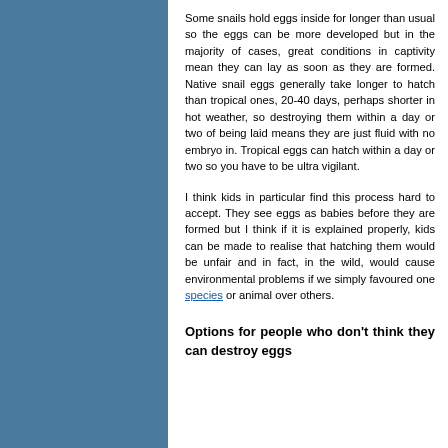Some snails hold eggs inside for longer than usual so the eggs can be more developed but in the majority of cases, great conditions in captivity mean they can lay as soon as they are formed. Native snail eggs generally take longer to hatch than tropical ones, 20-40 days, perhaps shorter in hot weather, so destroying them within a day or two of being laid means they are just fluid with no embryo in. Tropical eggs can hatch within a day or two so you have to be ultra vigilant.
I think kids in particular find this process hard to accept. They see eggs as babies before they are formed but I think if it is explained properly, kids can be made to realise that hatching them would be unfair and in fact, in the wild, would cause environmental problems if we simply favoured one species or animal over others.
Options for people who don't think they can destroy eggs